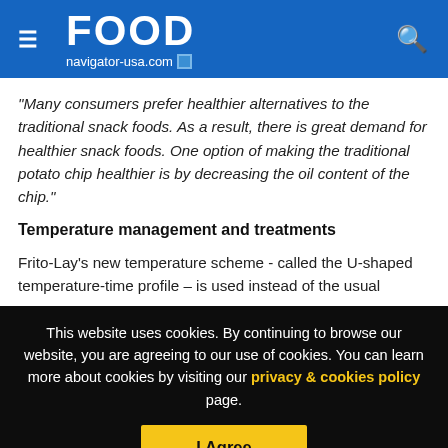FOOD navigator-usa.com
“Many consumers prefer healthier alternatives to the traditional snack foods. As a result, there is great demand for healthier snack foods. One option of making the traditional potato chip healthier is by decreasing the oil content of the chip.”
Temperature management and treatments
Frito-Lay’s new temperature scheme - called the U-shaped temperature-time profile – is used instead of the usual
This website uses cookies. By continuing to browse our website, you are agreeing to our use of cookies. You can learn more about cookies by visiting our privacy & cookies policy page.
I Agree